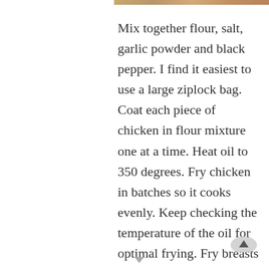[Figure (photo): Partial image strip at top of page showing food/chicken dish]
Mix together flour, salt, garlic powder and black pepper. I find it easiest to use a large ziplock bag. Coat each piece of chicken in flour mixture one at a time. Heat oil to 350 degrees. Fry chicken in batches so it cooks evenly. Keep checking the temperature of the oil for optimal frying. Fry breasts and thighs first for 10 minutes. Transfer to 275 degree oven while rest of chicken is frying to make sure chicken is cooked all of the way through. The smaller pieces like the legs and wings fry 6